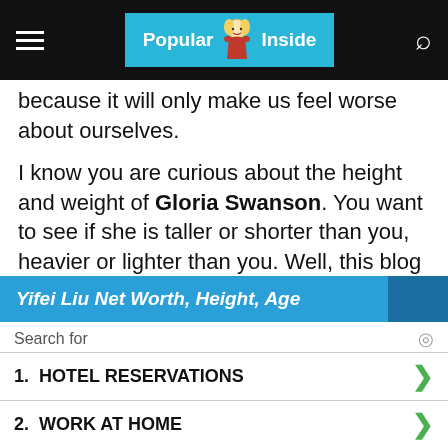Popular Inside (logo/navigation bar)
because it will only make us feel worse about ourselves.
I know you are curious about the height and weight of Gloria Swanson. You want to see if she is taller or shorter than you, heavier or lighter than you. Well, this blog is for all those that need their celebrity fix! We will show you how Gloria Swanson looks in a variety of different ways including how tall she is, how much she weighed, and pictures of her without makeup on as well as with makeup on.
[Figure (screenshot): Advertisement banner with blue header showing 'Yifei Liu Net Worth, Height, Age', a search bar, and two sponsored links: 1. HOTEL RESERVATIONS, 2. WORK AT HOME]